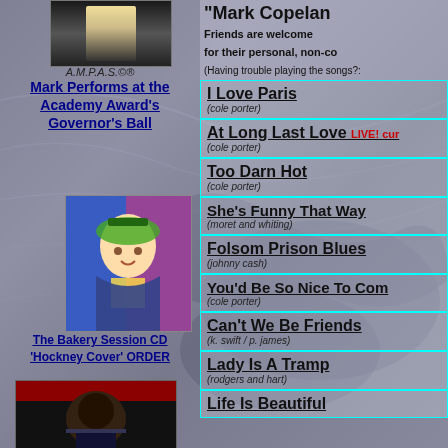[Figure (photo): Photo of Mark Copeland performing, top left]
A.M.P.A.S.®®
Mark Performs at the Academy Award's Governor's Ball
[Figure (illustration): Bakery Session CD Hockney Cover artwork - colorful painting of a young man with hat]
The Bakery Session CD 'Hockney Cover' ORDER
[Figure (photo): Photo of Mark Copeland in tuxedo]
"Mark Copelan
Friends are welcome for their personal, non-co
(Having trouble playing the songs?:
I Love Paris (cole porter)
At Long Last Love LIVE! cur (cole porter)
Too Darn Hot (cole porter)
She's Funny That Way (moret and whiting)
Folsom Prison Blues (johnny cash)
You'd Be So Nice To Com (cole porter)
Can't We Be Friends (k. swift / p. james)
Lady Is A Tramp (rodgers and hart)
Life Is Beautiful